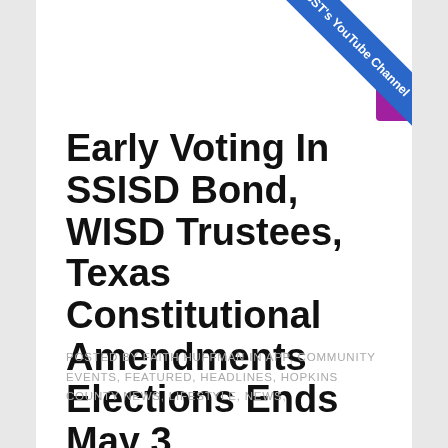[Figure (other): Purple 'Read More' button partially visible in top center of card]
[Figure (other): Blue diagonal ribbon banner in top-right corner with text 'KSST's YouTube Channel']
Early Voting In SSISD Bond, WISD Trustees, Texas Constitutional Amendments Elections Ends May 3
POSTED BY FAITH HUFFMAN IN APP, COMMUNITY EVENTS, FEATURED, HEADLINES, HOPKINS COUNTY NEWS, LIFESTYLE, NEWS,